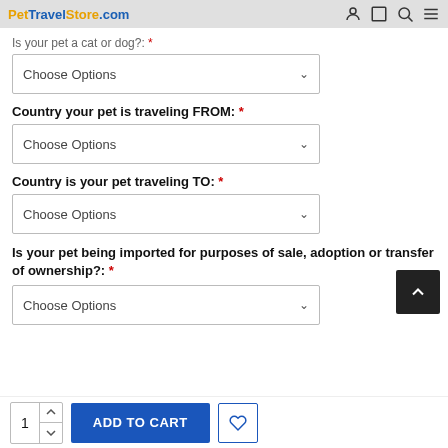PetTravelStore.com
Is your pet a cat or dog?: *
Choose Options
Country your pet is traveling FROM: *
Choose Options
Country is your pet traveling TO: *
Choose Options
Is your pet being imported for purposes of sale, adoption or transfer of ownership?: *
Choose Options
ADD TO CART